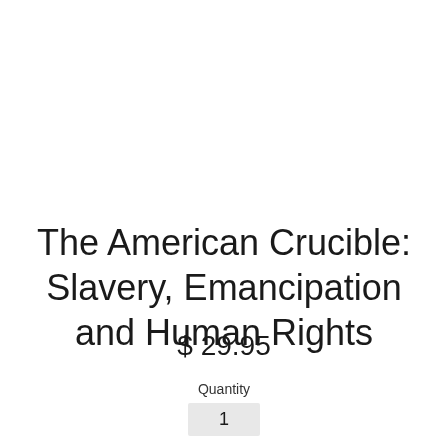The American Crucible: Slavery, Emancipation and Human Rights
$ 29.95
Quantity
1